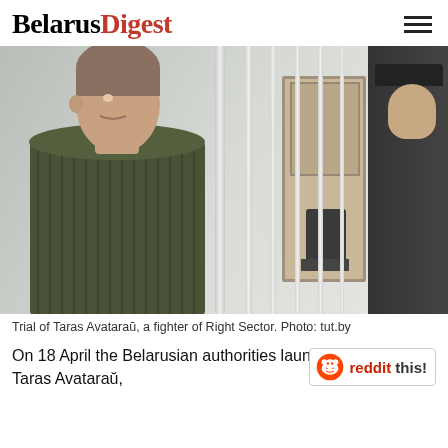BelarusDigest
[Figure (photo): A young man in an olive green sweater standing behind metal bars in a courtroom cage, with a uniformed guard visible on the right side, a door and chair in the background.]
Trial of Taras Avataraŭ, a fighter of Right Sector. Photo: tut.by
On 18 April the Belarusian authorities launched the trial of Taras Avataraŭ,